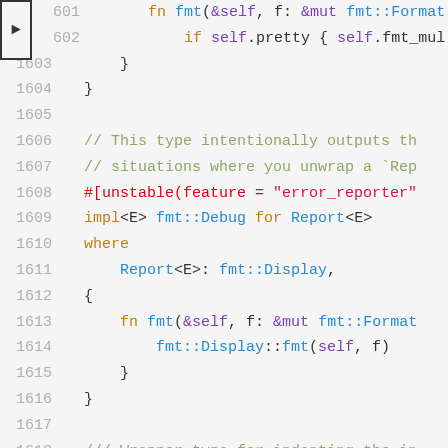[Figure (screenshot): Source code viewer showing Rust code lines 601-1619. Line 601 has a right-arrow navigation marker. Code shows fmt::Debug implementations for Report<E> type, with syntax highlighting in orange, blue, purple, and green for keywords, types, references, and comments respectively.]